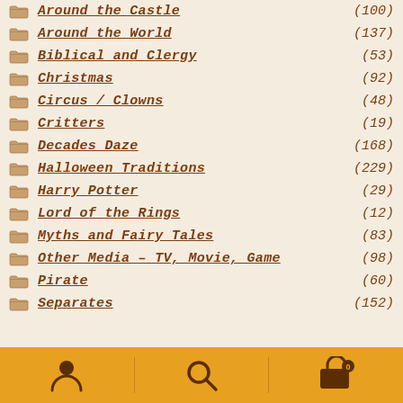Around the Castle (100)
Around the World (137)
Biblical and Clergy (53)
Christmas (92)
Circus / Clowns (48)
Critters (19)
Decades Daze (168)
Halloween Traditions (229)
Harry Potter (29)
Lord of the Rings (12)
Myths and Fairy Tales (83)
Other Media – TV, Movie, Game (98)
Pirate (60)
Separates (152)
[Figure (infographic): Bottom navigation bar with user/account icon, search icon, and shopping cart icon with badge showing 0]